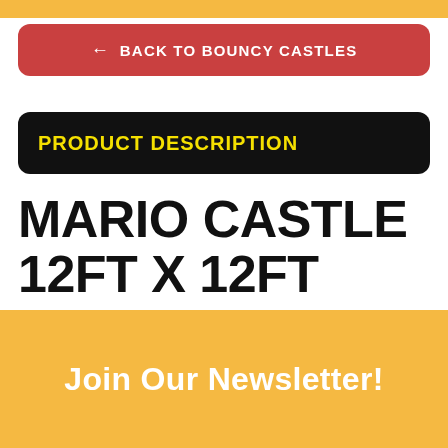← BACK TO BOUNCY CASTLES
PRODUCT DESCRIPTION
MARIO CASTLE 12FT X 12FT
Join Our Newsletter!